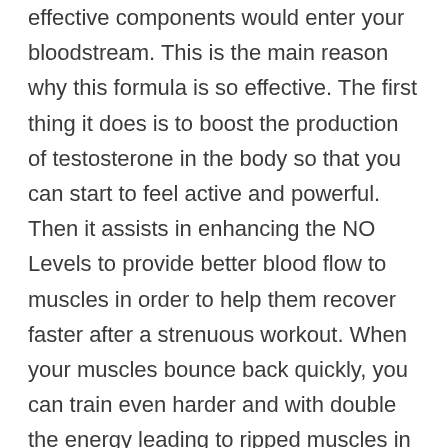effective components would enter your bloodstream. This is the main reason why this formula is so effective. The first thing it does is to boost the production of testosterone in the body so that you can start to feel active and powerful. Then it assists in enhancing the NO Levels to provide better blood flow to muscles in order to help them recover faster after a strenuous workout. When your muscles bounce back quickly, you can train even harder and with double the energy leading to ripped muscles in no time.
The supplement helps you gain strength and reinvent your body that was otherwise getting weaker and older. You can also expect better sexual stamina with regular use of the pills so that you can